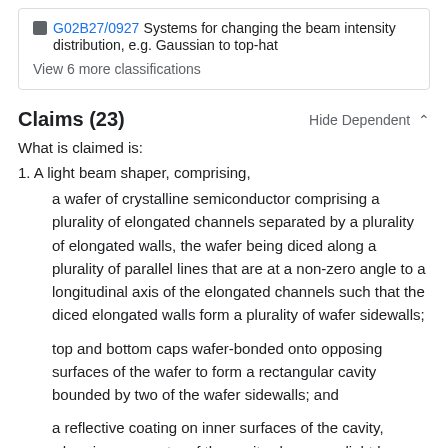G02B27/0927  Systems for changing the beam intensity distribution, e.g. Gaussian to top-hat
View 6 more classifications
Claims (23)
Hide Dependent ∧
What is claimed is:
1. A light beam shaper, comprising,
a wafer of crystalline semiconductor comprising a plurality of elongated channels separated by a plurality of elongated walls, the wafer being diced along a plurality of parallel lines that are at a non-zero angle to a longitudinal axis of the elongated channels such that the diced elongated walls form a plurality of wafer sidewalls;
top and bottom caps wafer-bonded onto opposing surfaces of the wafer to form a rectangular cavity bounded by two of the wafer sidewalls; and
a reflective coating on inner surfaces of the cavity, wherein a geometry of the cavity changes a light beam entering the